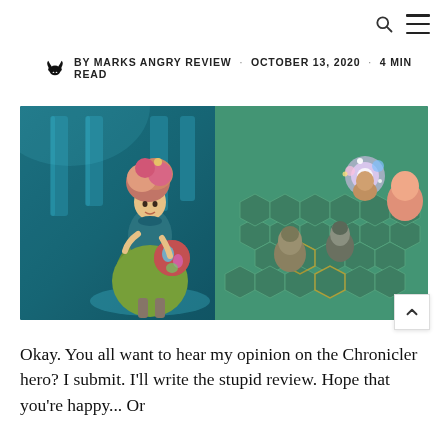BY MARKS ANGRY REVIEW · OCTOBER 13, 2020 · 4 MIN READ
[Figure (screenshot): Game screenshot showing a fantasy character (female hero with elaborate hair and green dress holding a colorful orb) on the left, and a tactical hex-grid battle scene with multiple characters on the right, set in a teal dungeon environment.]
Okay. You all want to hear my opinion on the Chronicler hero? I submit. I'll write the stupid review. Hope that you're happy... Or